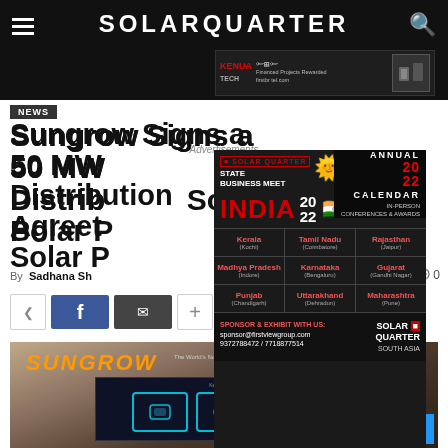SOLARQUARTER
News
Sungrow Signs a 50 MW Distribution Agreement Solar P...
By Sadhana Sh... 468 views 0 comments
[Figure (screenshot): SolarQuarter State Business Meet India 2022 Annual Calendar advertisement overlay showing Indian states: Kerala (Kochi), Tamil Nadu (Coimbatore), Rajasthan (Jaipur), Madhya Pradesh (Indore), Karnataka (Bengaluru), Gujarat (Gandhi Nagar), Punjab (Chandigarh), Uttarakhand (Dehradun), Maharashtra (Pune). Sponsor contact: sponsor@firstviewgroup.com 9372788472/7718877614]
[Figure (photo): Sungrow event photo showing a presentation screen with product boxes, audience visible at bottom]